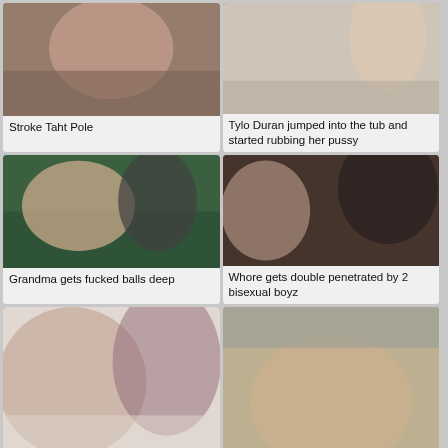[Figure (photo): Close-up photo of a person]
Stroke Taht Pole
[Figure (photo): Person in a bathroom tub]
Tylo Duran jumped into the tub and started rubbing her pussy
[Figure (photo): Two people on a green surface]
Grandma gets fucked balls deep
[Figure (photo): Three people on a couch]
Whore gets double penetrated by 2 bisexual boyz
[Figure (photo): Two women together indoors]
[Figure (photo): Person in a bathtub scene]